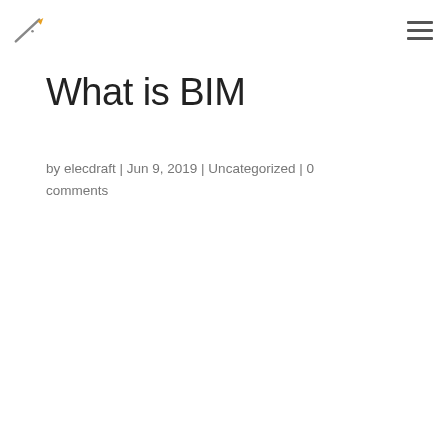elecdraft logo and navigation menu
What is BIM
by elecdraft | Jun 9, 2019 | Uncategorized | 0 comments